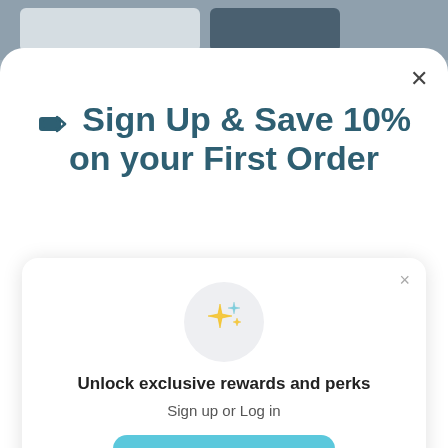[Figure (screenshot): Background showing product cards on a shopping website]
🏷 Sign Up & Save 10% on your First Order
[Figure (illustration): Inner popup modal with sparkle stars icon]
Unlock exclusive rewards and perks
Sign up or Log in
Sign up
Already have an account? Sign in